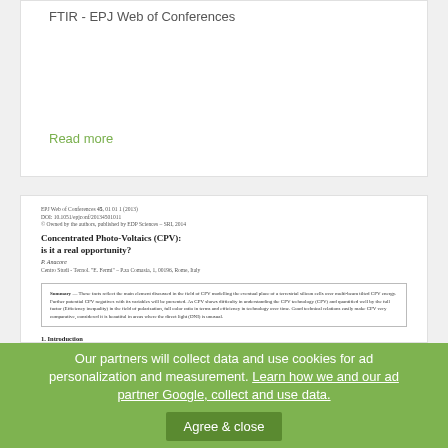FTIR - EPJ Web of Conferences
Read more
[Figure (screenshot): Preview of a scientific paper titled 'Concentrated Photo-Voltaics (CPV): is it a real opportunity?' showing paper metadata, title, author (P. Anacore), affiliation (Centro Studi - Tecnol... Via Comasia, 1, 00196, Rome, Italy), an abstract box, and beginning of section 1 Introduction body text.]
Our partners will collect data and use cookies for ad personalization and measurement. Learn how we and our ad partner Google, collect and use data.
Agree & close